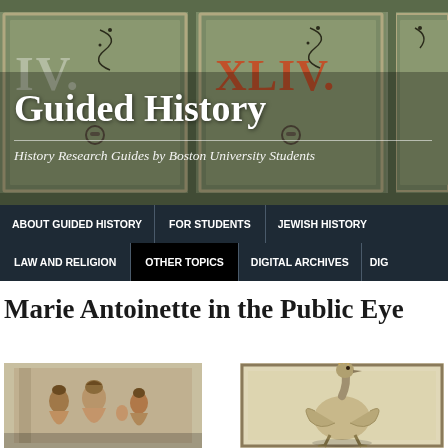[Figure (photo): Header banner showing antique wooden cabinet drawers with green paint and Roman numerals including 'XLIV.' painted in red/orange, decorative vine details]
Guided History
History Research Guides by Boston University Students
ABOUT GUIDED HISTORY | FOR STUDENTS | JEWISH HISTORY | LAW AND RELIGION | OTHER TOPICS | DIGITAL ARCHIVES | DIG
Marie Antoinette in the Public Eye
[Figure (illustration): Historical engraving or illustration of Marie Antoinette with figures in a domestic scene]
[Figure (illustration): Historical engraving showing a large bird (appears to be an ostrich or similar large bird) in a framed illustration]